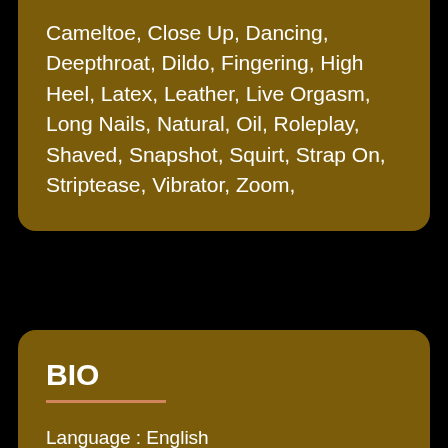Cameltoe, Close Up, Dancing, Deepthroat, Dildo, Fingering, High Heel, Latex, Leather, Live Orgasm, Long Nails, Natural, Oil, Roleplay, Shaved, Snapshot, Squirt, Strap On, Striptease, Vibrator, Zoom,
BIO
Language : English
Age : 31
Sex : female
Hair Length : long
Hair Color : black